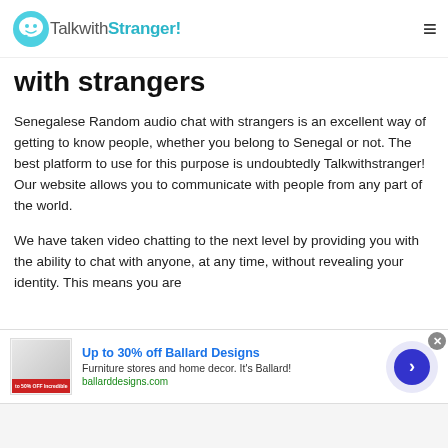TalkwithStranger!
with strangers
Senegalese Random audio chat with strangers is an excellent way of getting to know people, whether you belong to Senegal or not. The best platform to use for this purpose is undoubtedly Talkwithstranger! Our website allows you to communicate with people from any part of the world.
We have taken video chatting to the next level by providing you with the ability to chat with anyone, at any time, without revealing your identity. This means you are
[Figure (screenshot): Advertisement banner for Ballard Designs: 'Up to 30% off Ballard Designs', 'Furniture stores and home decor. It's Ballard!', ballarddesigns.com, with a close button and arrow button]